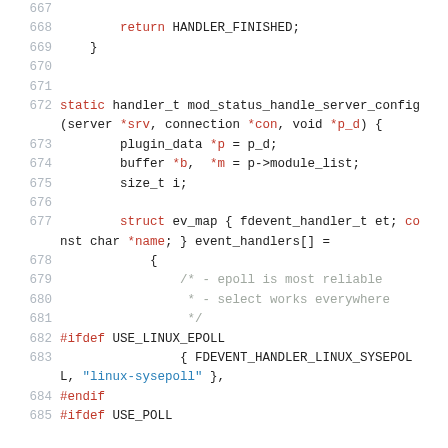Source code listing, lines 667-685, C code for mod_status_handle_server_config function and event handler structure definition.